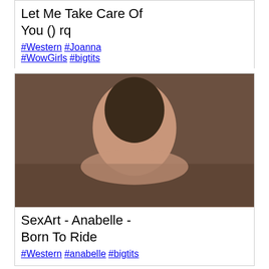Let Me Take Care Of You () rq
#Western #Joanna #WowGirls #bigtits
[Figure (photo): Thumbnail image for SexArt Anabelle Born To Ride video]
SexArt - Anabelle - Born To Ride
#Western #anabelle #bigtits
[Figure (photo): Thumbnail image for BigNaturals Kira video]
BigNaturals - Kira